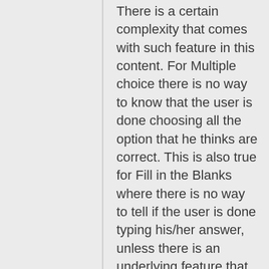There is a certain complexity that comes with such feature in this content. For Multiple choice there is no way to know that the user is done choosing all the option that he thinks are correct. This is also true for Fill in the Blanks where there is no way to tell if the user is done typing his/her answer, unless there is an underlying feature that automatically checks the answer once the user typed the correct one. Which leads to another concern of only having the